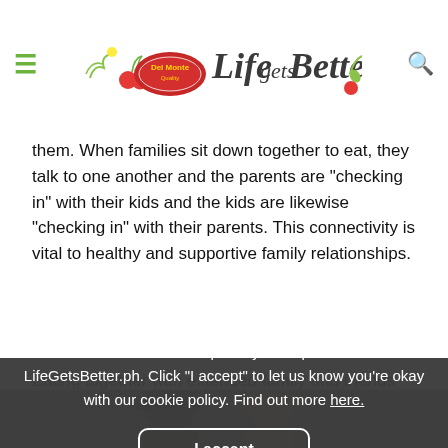Del Monte Life Gets Better
them. When families sit down together to eat, they talk to one another and the parents are "checking in" with their kids and the kids are likewise "checking in" with their parents. This connectivity is vital to healthy and supportive family relationships.
Eating together with extended family and friends during holidays, milestones, and special occasions ingrains this sense e[cookie overlay] f childre[We use cookies to improve your experience on]ey have a[LifeGetsBetter.ph. Click "I accept" to let us know]
We use cookies to improve your experience on LifeGetsBetter.ph. Click "I accept" to let us know you're okay with our cookie policy. Find out more here.
[Figure (photo): Two people (man and woman) smiling, partial view at bottom of page]